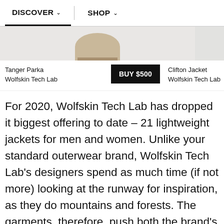DISCOVER   SHOP
[Figure (photo): Product images of Tanger Parka and Clifton Jacket from Wolfskin Tech Lab, partially visible]
Tanger Parka
Wolfskin Tech Lab
BUY $500
Clifton Jacket
Wolfskin Tech Lab
For 2020, Wolfskin Tech Lab has dropped it biggest offering to date – 21 lightweight jackets for men and women. Unlike your standard outerwear brand, Wolfskin Tech Lab's designers spend as much time (if not more) looking at the runway for inspiration, as they do mountains and forests. The garments, therefore, push both the brand's both functional and aesthetic boundaries, making use of Jack Wolfskin's wealth of technical knowledge but placing just as